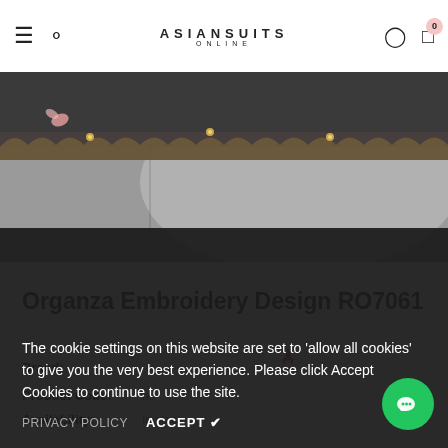ASIANSUITS ONLINE
[Figure (photo): Top portion of an embroidered organza fabric with decorative border, shown against a grey background]
Organza Embroidery Design RO7061
Brand:
Product Code:
Availability:
The cookie settings on this website are set to 'allow all cookies' to give you the very best experience. Please click Accept Cookies to continue to use the site.
PRIVACY POLICY   ACCEPT ✔